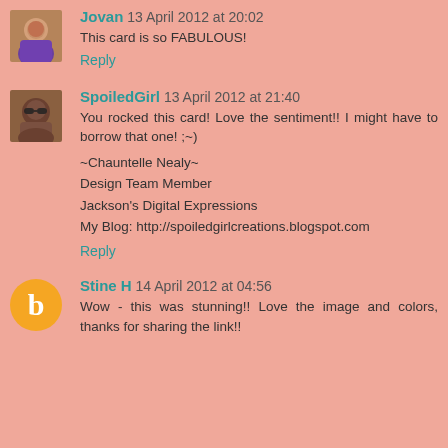Jovan 13 April 2012 at 20:02
This card is so FABULOUS!
Reply
SpoiledGirl 13 April 2012 at 21:40
You rocked this card! Love the sentiment!! I might have to borrow that one! ;~)

~Chauntelle Nealy~
Design Team Member
Jackson's Digital Expressions
My Blog: http://spoiledgirlcreations.blogspot.com
Reply
Stine H 14 April 2012 at 04:56
Wow - this was stunning!! Love the image and colors, thanks for sharing the link!!